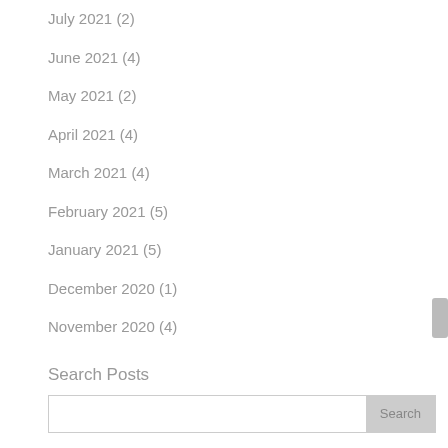July 2021 (2)
June 2021 (4)
May 2021 (2)
April 2021 (4)
March 2021 (4)
February 2021 (5)
January 2021 (5)
December 2020 (1)
November 2020 (4)
Search Posts